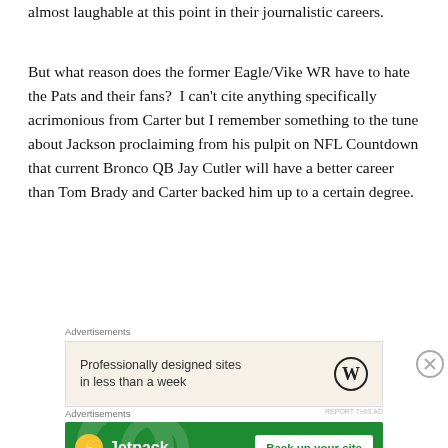almost laughable at this point in their journalistic careers.
But what reason does the former Eagle/Vike WR have to hate the Pats and their fans?  I can't cite anything specifically acrimonious from Carter but I remember something to the tune about Jackson proclaiming from his pulpit on NFL Countdown that current Bronco QB Jay Cutler will have a better career than Tom Brady and Carter backed him up to a certain degree.
Advertisements
[Figure (screenshot): WordPress advertisement: 'Professionally designed sites in less than a week' with WordPress logo]
Advertisements
[Figure (screenshot): Jetpack advertisement: 'Back up your site' green banner with Jetpack logo and button]